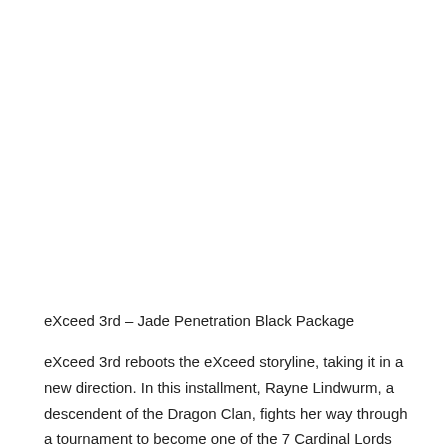eXceed 3rd – Jade Penetration Black Package
eXceed 3rd reboots the eXceed storyline, taking it in a new direction. In this installment, Rayne Lindwurm, a descendent of the Dragon Clan, fights her way through a tournament to become one of the 7 Cardinal Lords who rule her world, Pandemonium. Standing in her